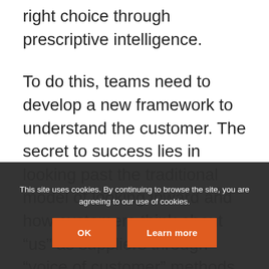decision points, but guiding the buyer to the right choice through prescriptive intelligence.
To do this, teams need to develop a new framework to understand the customer. The secret to success lies in looking past the traditional model of looking inward and how customers think about “us” as suppliers through “voice of customer” methods, such as loyalty surveys and social data. Instead, start by shifting the focus on how customers view themselves and their challenges. Understand…goals, map out dynamic buying groups, and comprehend
This site uses cookies. By continuing to browse the site, you are agreeing to our use of cookies.